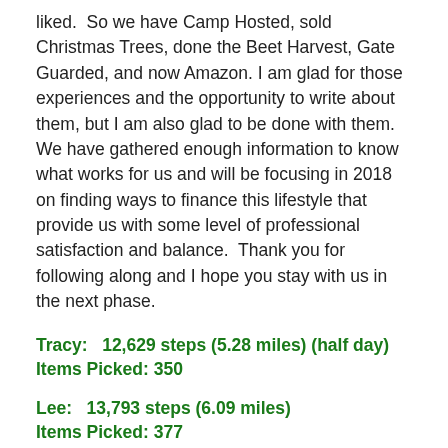liked.  So we have Camp Hosted, sold Christmas Trees, done the Beet Harvest, Gate Guarded, and now Amazon.  I am glad for those experiences and the opportunity to write about them, but I am also glad to be done with them.  We have gathered enough information to know what works for us and will be focusing in 2018 on finding ways to finance this lifestyle that provide us with some level of professional satisfaction and balance.  Thank you for following along and I hope you stay with us in the next phase.
Tracy:   12,629 steps (5.28 miles) (half day)
Items Picked: 350
Lee:   13,793 steps (6.09 miles)
Items Picked: 377